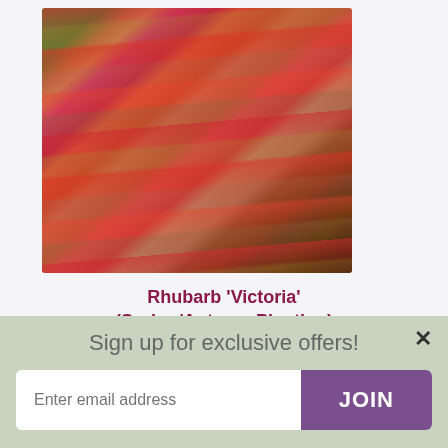[Figure (photo): Close-up photo of rhubarb stalks (Victoria variety) with red and pink gradient stalks and green leaves visible at the top, set against a dark soil background.]
Rhubarb 'Victoria' (Spring/Autumn Planting)
16 Reviews
Sun
Grows in:
Sign up for exclusive offers!
Enter email address
JOIN